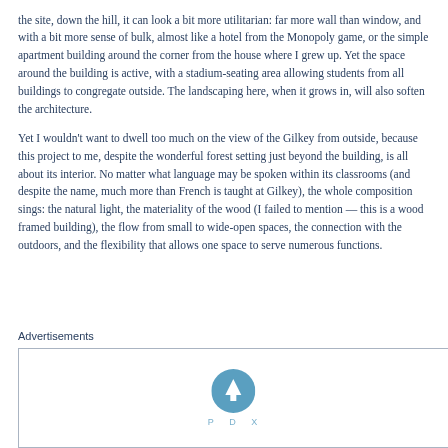the site, down the hill, it can look a bit more utilitarian: far more wall than window, and with a bit more sense of bulk, almost like a hotel from the Monopoly game, or the simple apartment building around the corner from the house where I grew up. Yet the space around the building is active, with a stadium-seating area allowing students from all buildings to congregate outside. The landscaping here, when it grows in, will also soften the architecture.
Yet I wouldn't want to dwell too much on the view of the Gilkey from outside, because this project to me, despite the wonderful forest setting just beyond the building, is all about its interior. No matter what language may be spoken within its classrooms (and despite the name, much more than French is taught at Gilkey), the whole composition sings: the natural light, the materiality of the wood (I failed to mention — this is a wood framed building), the flow from small to wide-open spaces, the connection with the outdoors, and the flexibility that allows one space to serve numerous functions.
Advertisements
[Figure (logo): PDX logo — circular blue icon with upward arrow inside, and text 'P D X' below in light blue]